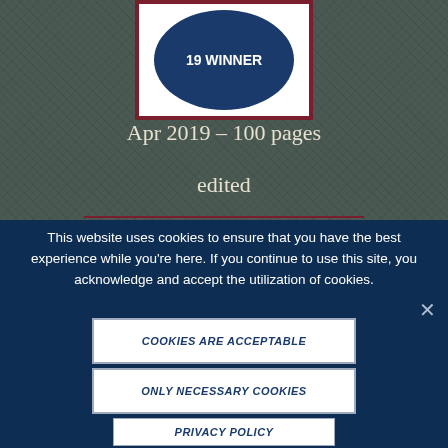[Figure (illustration): Circular badge/patch with dark blue background showing '19 WINNER' text, framed by a dark red/maroon border rectangle on a textured dark grey-green background]
Apr 2019 – 100 pages
edited
This website uses cookies to ensure that you have the best experience while you're here. If you continue to use this site, you acknowledge and accept the utilization of cookies.
COOKIES ARE ACCEPTABLE
ONLY NECESSARY COOKIES
PRIVACY POLICY